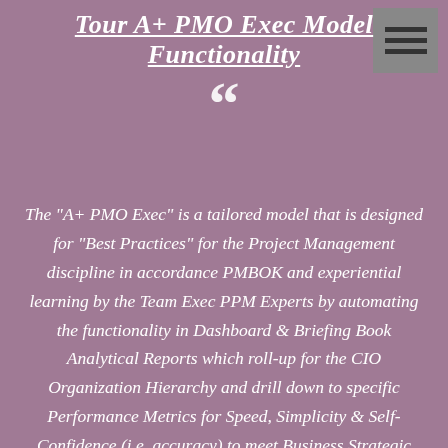Tour A+ PMO Exec Model Functionality
““
The "A+ PMO Exec" is a tailored model that is designed for "Best Practices" for the Project Management discipline in accordance PMBOK and experiential learning by the Team Exec PPM Experts by automating the functionality in Dashboard & Briefing Book Analytical Reports which roll-up for the CIO Organization Hierarchy and drill down to specific Performance Metrics for Speed, Simplicity & Self-Confidence (i.e. accuracy) to meet Business Strategic Road-map Objectives.